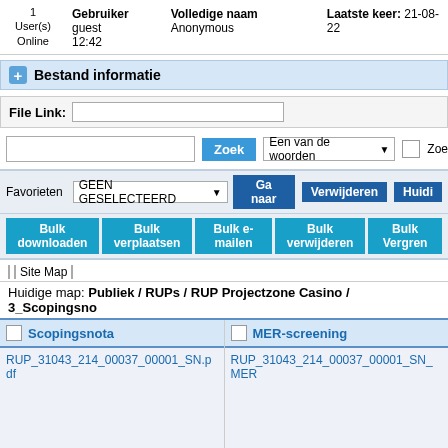1 User(s) Online  Gebruiker guest 12:42  Volledige naam Anonymous  Laatste keer: 21-08-22
Bestand informatie
File Link:
Zoek  Een van de woorden  Zoe
Favorieten  GEEN GESELECTEERD  Ga naar  Verwijderen  Huidi
Bulk downloaden  Bulk verplaatsen  Bulk e-mailen  Bulk verwijderen  Bulk Vergren
Site Map
Huidige map: Publiek / RUPs / RUP Projectzone Casino / 3_Scopingsno
| Scopingsnota | MER-screening |
| --- | --- |
| RUP_31043_214_00037_00001_SN.pdf | RUP_31043_214_00037_00001_SN_MER |
| Beeld grootte: Unknown
Ver.: 1.0 | Beeld grootte: Unknown
Ver.: 1.0 |
| Doc #: 315538 | Doc #: 315539 |